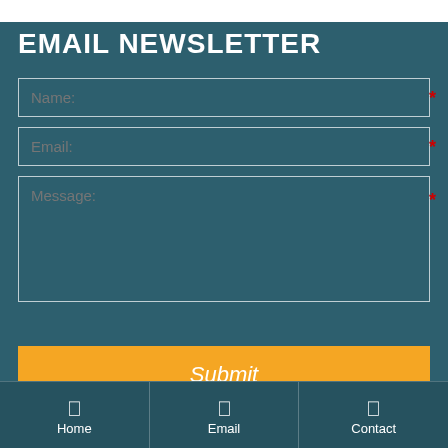EMAIL NEWSLETTER
Name:
Email:
Message:
Submit
Copyright @ 2015 Qingdao I-Flow Co., Ltd All rights reserved. Privacy Policy
Home
Email
Contact